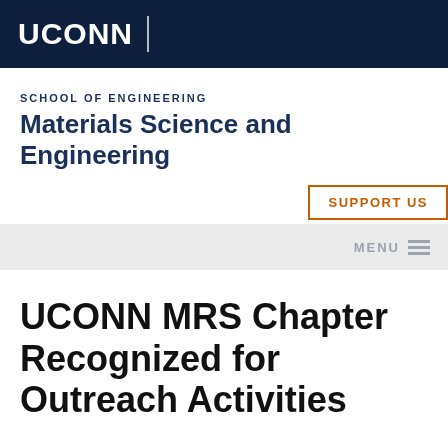UCONN
SCHOOL OF ENGINEERING
Materials Science and Engineering
SUPPORT US
MENU
UCONN MRS Chapter Recognized for Outreach Activities